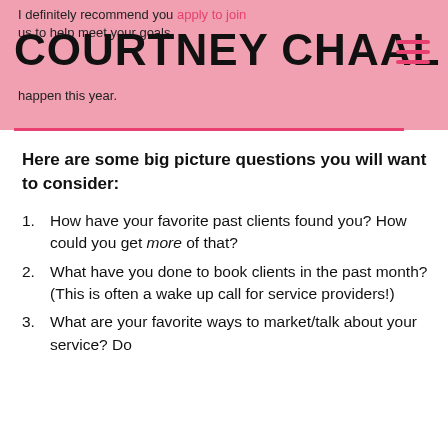I definitely recommend you apply to join us to help meet your goals happen this year.
COURTNEY CHAAL
Here are some big picture questions you will want to consider:
How have your favorite past clients found you? How could you get more of that?
What have you done to book clients in the past month? (This is often a wake up call for service providers!)
What are your favorite ways to market/talk about your service? Do